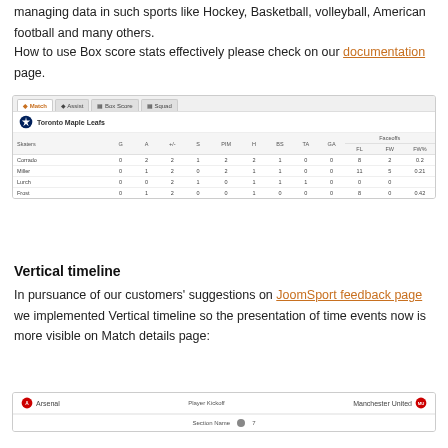managing data in such sports like hockey, basketball, volleyball, American football and many others.
How to use Box score stats effectively please check on our documentation page.
[Figure (screenshot): Screenshot of a hockey box score interface showing Toronto Maple Leafs stats table with columns: Skaters, G, A, +/-, S, PIM, H, BS, TA, GA, Faceoffs (FL, FW, FW%). Rows: Corrrado, Miller, Lurch, Frost with various numeric stats.]
Vertical timeline
In pursuance of our customers' suggestions on JoomSport feedback page we implemented Vertical timeline so the presentation of time events now is more visible on Match details page:
[Figure (screenshot): Screenshot of a vertical timeline showing a match between Arsenal and Manchester United with a Player kickoff event and Section Name footer.]